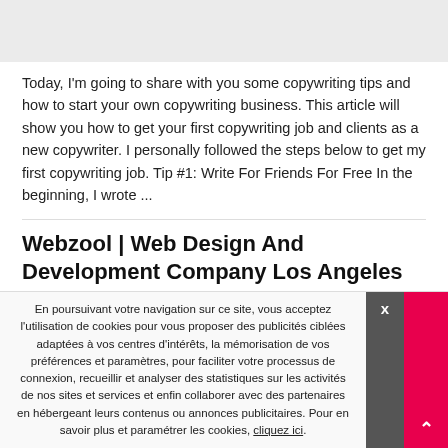[Figure (other): Gray rectangular image placeholder block at the top of the page]
Today, I'm going to share with you some copywriting tips and how to start your own copywriting business. This article will show you how to get your first copywriting job and clients as a new copywriter. I personally followed the steps below to get my first copywriting job. Tip #1: Write For Friends For Free In the beginning, I wrote ...
Webzool | Web Design And Development Company Los Angeles
Par ayshab43   22 juin 2020   dans : Non classé
En poursuivant votre navigation sur ce site, vous acceptez l'utilisation de cookies pour vous proposer des publicités ciblées adaptées à vos centres d'intérêts, la mémorisation de vos préférences et paramètres, pour faciliter votre processus de connexion, recueillir et analyser des statistiques sur les activités de nos sites et services et enfin collaborer avec des partenaires en hébergeant leurs contenus ou annonces publicitaires. Pour en savoir plus et paramétrer les cookies, cliquez ici.